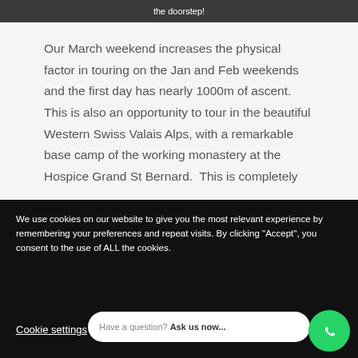the doorstep!
Our March weekend increases the physical factor in touring on the Jan and Feb weekends and the first day has nearly 1000m of ascent.  This is also an opportunity to tour in the beautiful Western Swiss Valais Alps, with a remarkable base camp of the working monastery at the Hospice Grand St Bernard.  This is completely
We use cookies on our website to give you the most relevant experience by remembering your preferences and repeat visits. By clicking “Accept”, you consent to the use of ALL the cookies.
Have a question? Ask us now...
Cookie settings